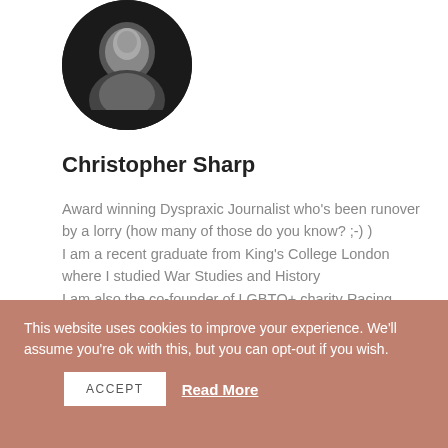[Figure (photo): Circular black and white portrait photo of Christopher Sharp]
Christopher Sharp
Award winning Dyspraxic Journalist who's been runover by a lorry (how many of those do you know? ;-) )
I am a recent graduate from King's College London where I studied War Studies and History
I am also the co-founder of LGBTQ+ charity Racing Pride
ALL AUTHOR POSTS
This website uses cookies to improve your experience. We'll assume you're ok with this, but you can opt-out if you wish.
ACCEPT   Read More